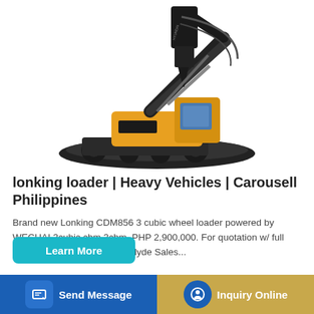[Figure (photo): A black and yellow Hyundai excavator with a hydraulic breaker attachment, shown against a white background]
lonking loader | Heavy Vehicles | Carousell Philippines
Brand new Lonking CDM856 3 cubic wheel loader powered by WECHAI 3cubic cbm 3cbm. PHP 2,900,000. For quotation w/ full specs & more info Look for Clyde Sales...
Learn More
Send Message
Inquiry Online